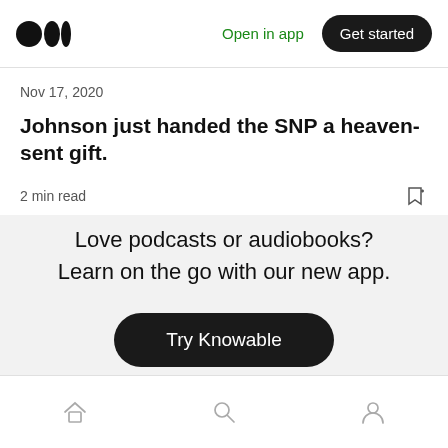Medium logo | Open in app | Get started
Nov 17, 2020
Johnson just handed the SNP a heaven-sent gift.
2 min read
Love podcasts or audiobooks? Learn on the go with our new app.
Try Knowable
Home | Search | Profile